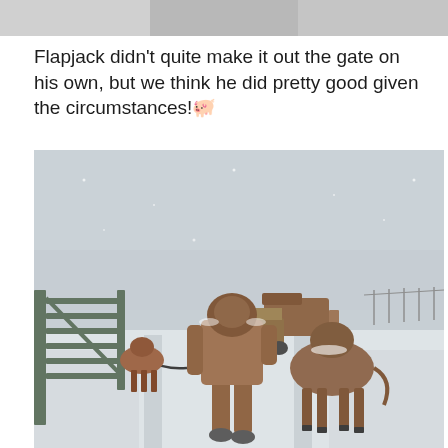[Figure (photo): Top strip showing partial image, gray/cropped]
Flapjack didn't quite make it out the gate on his own, but we think he did pretty good given the circumstances! 🐷
[Figure (photo): Outdoor winter farm scene showing a person in brown coveralls and hood walking behind a cow on a snow-covered road, with an ATV and trailer ahead, a metal gate on the left, and a fence line in the background under a gray snowy sky.]